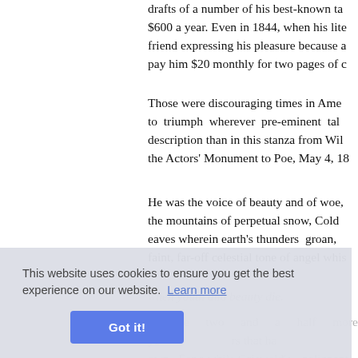drafts of a number of his best-known ta... $600 a year. Even in 1844, when his lite... friend expressing his pleasure because a... pay him $20 monthly for two pages of c...
Those were discouraging times in Amer... to triumph wherever pre-eminent tal... description than in this stanza from Wil... the Actors' Monument to Poe, May 4, 18...
He was the voice of beauty and of woe, the mountains of perpetual snow, Cold... eaves wherein earth's thunders groan, faint, far-off celestial tone of angel whis...
when youth and beauty die.
in the two and a half more ye...rs that ha... own. For a while Griswold's malignant as... and as writer. But, thanks to J... Whitman and others these scandals have
as a man without failings, it is true, bu...
This website uses cookies to ensure you get the best experience on our website. Learn more
Got it!